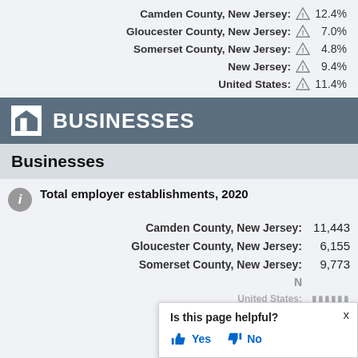Camden County, New Jersey: ⚠ 12.4%
Gloucester County, New Jersey: ⚠ 7.0%
Somerset County, New Jersey: ⚠ 4.8%
New Jersey: ⚠ 9.4%
United States: ⚠ 11.4%
BUSINESSES
Businesses
Total employer establishments, 2020
Camden County, New Jersey: 11,443
Gloucester County, New Jersey: 6,155
Somerset County, New Jersey: 9,773
Is this page helpful? Yes No